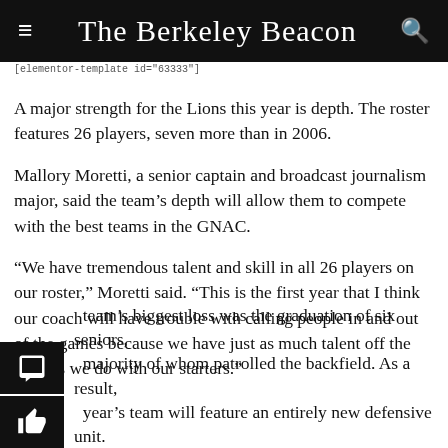The Berkeley Beacon
[elementor-template id="63333"]
A major strength for the Lions this year is depth. The roster features 26 players, seven more than in 2006.
Mallory Moretti, a senior captain and broadcast journalism major, said the team’s depth will allow them to compete with the best teams in the GNAC.
“We have tremendous talent and skill in all 26 players on our roster,” Moretti said. “This is the first year that I think our coach will have trouble with calling people in and out of the games because we have just as much talent off the field as we do with our starters.”
The team’s biggest loss was the graduation of six seniors, a majority of whom patrolled the backfield. As a result, this year’s team will feature an entirely new defensive unit.